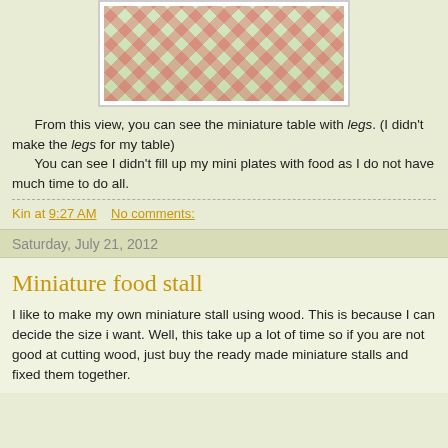[Figure (photo): Photo of miniature food table with small plates of food on a red and white checkered tablecloth, viewed from the side showing table legs]
From this view, you can see the miniature table with legs. (I didn't make the legs for my table)
    You can see I didn't fill up my mini plates with food as I do not have much time to do all.
Kin at 9:27 AM    No comments:
Saturday, July 21, 2012
Miniature food stall
I like to make my own miniature stall using wood. This is because I can decide the size i want. Well, this take up a lot of time so if you are not good at cutting wood, just buy the ready made miniature stalls and fixed them together.